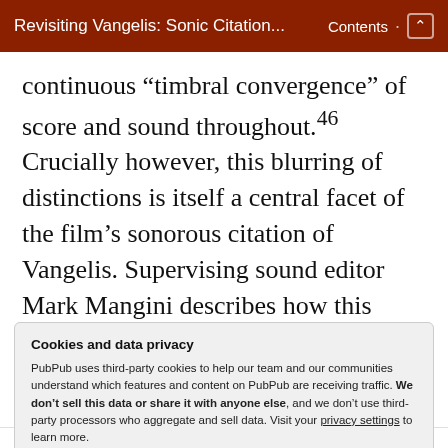Revisiting Vangelis: Sonic Citation... Contents
continuous “timbral convergence” of score and sound throughout.46 Crucially however, this blurring of distinctions is itself a central facet of the film’s sonorous citation of Vangelis. Supervising sound editor Mark Mangini describes how this ambiguity was among the filmmakers’
Cookies and data privacy
PubPub uses third-party cookies to help our team and our communities understand which features and content on PubPub are receiving traffic. We don’t sell this data or share it with anyone else, and we don’t use third-party processors who aggregate and sell data. Visit your privacy settings to learn more.